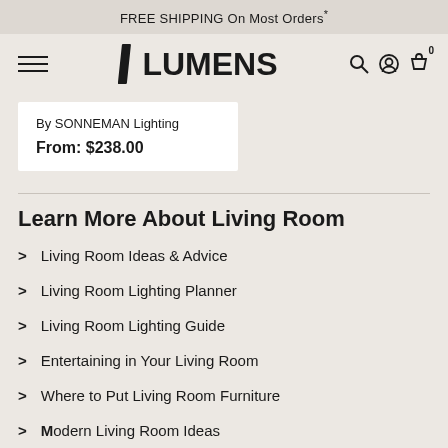FREE SHIPPING On Most Orders*
[Figure (logo): Lumens logo with hamburger menu, search, account, and cart icons in navigation bar]
By SONNEMAN Lighting
From: $238.00
Learn More About Living Room
Living Room Ideas & Advice
Living Room Lighting Planner
Living Room Lighting Guide
Entertaining in Your Living Room
Where to Put Living Room Furniture
Modern Living Room Ideas